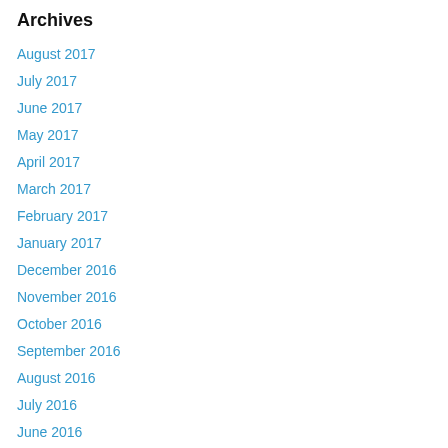Archives
August 2017
July 2017
June 2017
May 2017
April 2017
March 2017
February 2017
January 2017
December 2016
November 2016
October 2016
September 2016
August 2016
July 2016
June 2016
May 2016
April 2016
March 2016